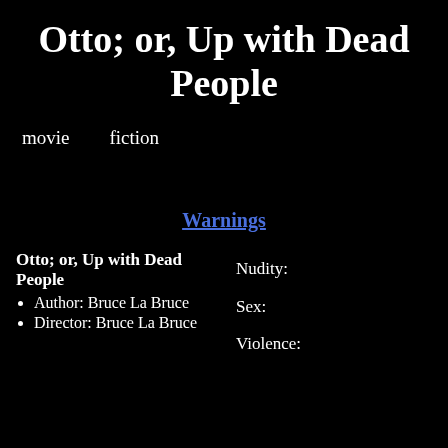Otto; or, Up with Dead People
movie   fiction
Warnings
Otto; or, Up with Dead People
Author: Bruce La Bruce
Director: Bruce La Bruce
Nudity:
Sex:
Violence: